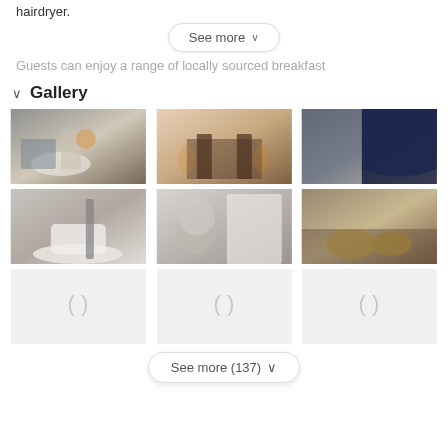hairdryer.
See more ∨
Guests can enjoy a range of locally sourced breakfast
Gallery
[Figure (photo): Living room with floral decor and couch]
[Figure (photo): Bedroom with floral wallpaper and iron bed]
[Figure (photo): Room with blue canopy and floral wallpaper]
[Figure (photo): Bathroom with freestanding clawfoot tub and faucet]
[Figure (photo): Hallway with mirror and white cabinets and flowers]
[Figure (photo): Dining table set with gold plates]
[Figure (photo): Loading placeholder]
[Figure (photo): Loading placeholder]
[Figure (photo): Loading placeholder]
See more (137) ∨